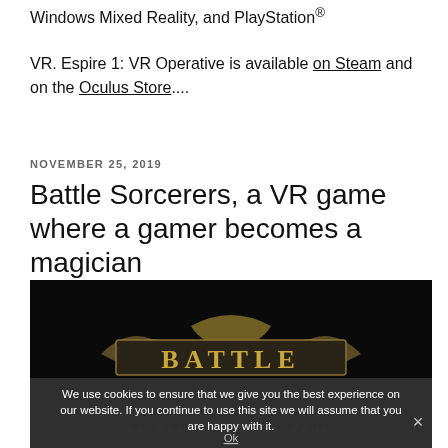Windows Mixed Reality, and PlayStation®
VR. Espire 1: VR Operative is available on Steam and on the Oculus Store....
NOVEMBER 25, 2019
Battle Sorcerers, a VR game where a gamer becomes a magician
[Figure (screenshot): Dark banner image showing the Battle Sorcerers game logo in gold/bronze text with ornate styling, and subtitle text 'VR ONLINE BATTLE GAME' below. A cookie consent overlay is shown at the bottom with message and Ok button.]
We use cookies to ensure that we give you the best experience on our website. If you continue to use this site we will assume that you are happy with it.
Ok